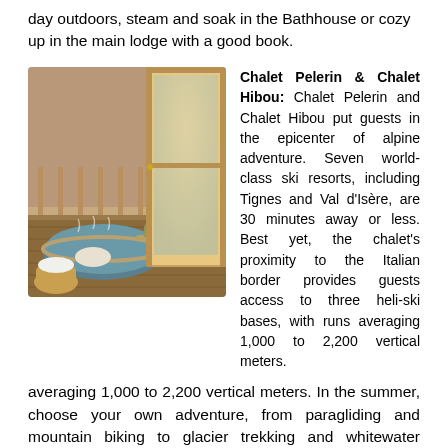day outdoors, steam and soak in the Bathhouse or cozy up in the main lodge with a good book.
[Figure (photo): A chalet balcony with an outdoor hot tub, wooden door open to show snowy alpine mountain peaks and forest in the background, with a small table with wine and glasses nearby.]
Chalet Pelerin & Chalet Hibou: Chalet Pelerin and Chalet Hibou put guests in the epicenter of alpine adventure. Seven world-class ski resorts, including Tignes and Val d'Isère, are 30 minutes away or less. Best yet, the chalet's proximity to the Italian border provides guests access to three heli-ski bases, with runs averaging 1,000 to 2,200 vertical meters. In the summer, choose your own adventure, from paragliding and mountain biking to glacier trekking and whitewater rafting.